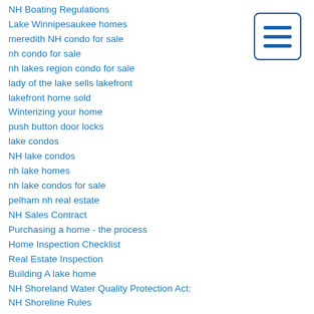NH Boating Regulations
Lake Winnipesaukee homes
meredith NH condo for sale
nh condo for sale
nh lakes region condo for sale
lady of the lake sells lakefront
lakefront home sold
Winterizing your home
push button door locks
lake condos
NH lake condos
nh lake homes
nh lake condos for sale
pelham nh real estate
NH Sales Contract
Purchasing a home - the process
Home Inspection Checklist
Real Estate Inspection
Building A lake home
NH Shoreland Water Quality Protection Act:
NH Shoreline Rules
Buyer Representation Real Estate
NH Buyers Real Estate Agents
[Figure (other): Menu/hamburger icon — three horizontal blue lines inside a blue-bordered rounded rectangle]